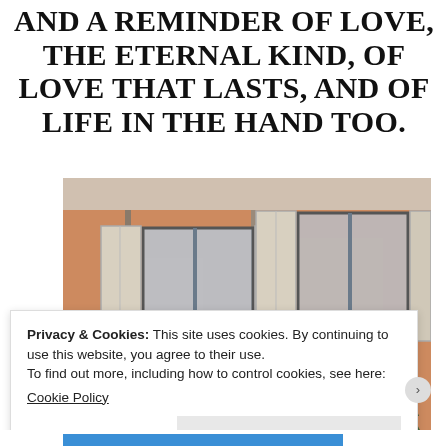AND A REMINDER OF LOVE, THE ETERNAL KIND, OF LOVE THAT LASTS, AND OF LIFE IN THE HAND TOO.
[Figure (photo): Photograph of a terracotta-orange European apartment building facade with open shuttered windows and classical architectural ornament at the roofline, a small conifer tree visible at lower right.]
Privacy & Cookies: This site uses cookies. By continuing to use this website, you agree to their use.
To find out more, including how to control cookies, see here:
Cookie Policy